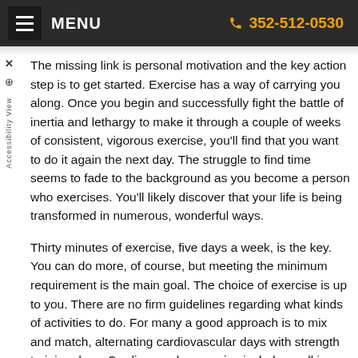MENU  352-512-0530
The missing link is personal motivation and the key action step is to get started. Exercise has a way of carrying you along. Once you begin and successfully fight the battle of inertia and lethargy to make it through a couple of weeks of consistent, vigorous exercise, you'll find that you want to do it again the next day. The struggle to find time seems to fade to the background as you become a person who exercises. You'll likely discover that your life is being transformed in numerous, wonderful ways.
Thirty minutes of exercise, five days a week, is the key. You can do more, of course, but meeting the minimum requirement is the main goal. The choice of exercise is up to you. There are no firm guidelines regarding what kinds of activities to do. For many a good approach is to mix and match, alternating cardiovascular days with strength training days. Cardiovascular exercise includes walking,